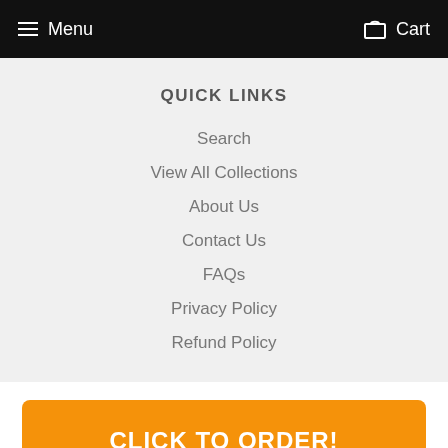Menu  Cart
QUICK LINKS
Search
View All Collections
About Us
Contact Us
FAQs
Privacy Policy
Refund Policy
CLICK TO ORDER!